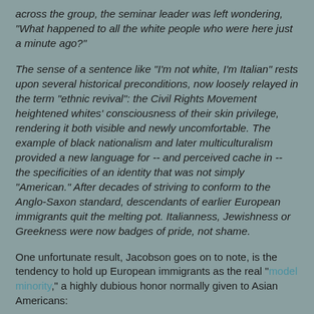across the group, the seminar leader was left wondering, "What happened to all the white people who were here just a minute ago?"
The sense of a sentence like "I'm not white, I'm Italian" rests upon several historical preconditions, now loosely relayed in the term "ethnic revival": the Civil Rights Movement heightened whites' consciousness of their skin privilege, rendering it both visible and newly uncomfortable. The example of black nationalism and later multiculturalism provided a new language for -- and perceived cache in -- the specificities of an identity that was not simply "American." After decades of striving to conform to the Anglo-Saxon standard, descendants of earlier European immigrants quit the melting pot. Italianness, Jewishness or Greekness were now badges of pride, not shame.
One unfortunate result, Jacobson goes on to note, is the tendency to hold up European immigrants as the real "model minority," a highly dubious honor normally given to Asian Americans: